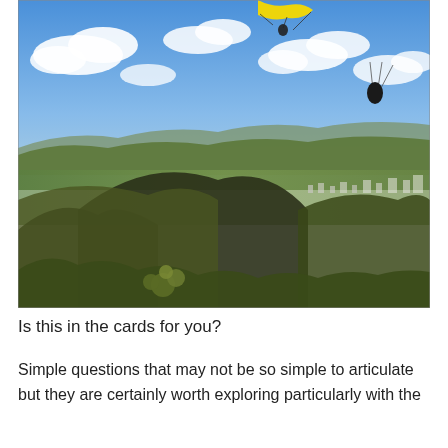[Figure (photo): Aerial paragliding photo taken from a mountaintop. A paraglider with a yellow canopy is visible in the upper portion of the image against a blue sky with white clouds. Below is a sweeping valley view with forested hills, rolling mountain ridges, a small town in the valley, and green fields in the distance.]
Is this in the cards for you?
Simple questions that may not be so simple to articulate but they are certainly worth exploring particularly with the